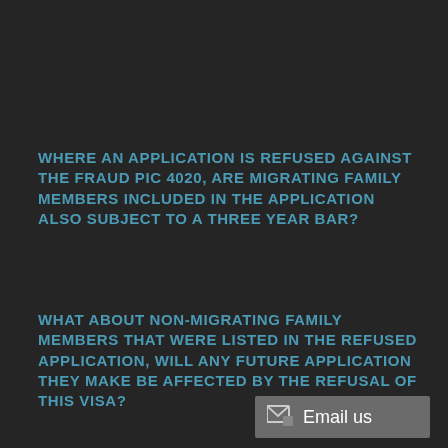WHERE AN APPLICATION IS REFUSED AGAINST THE FRAUD PIC 4020, ARE MIGRATING FAMILY MEMBERS INCLUDED IN THE APPLICATION ALSO SUBJECT TO A THREE YEAR BAR?
WHAT ABOUT NON-MIGRATING FAMILY MEMBERS THAT WERE LISTED IN THE REFUSED APPLICATION, WILL ANY FUTURE APPLICATION THEY MAKE BE AFFECTED BY THE REFUSAL OF THIS VISA?
Email us